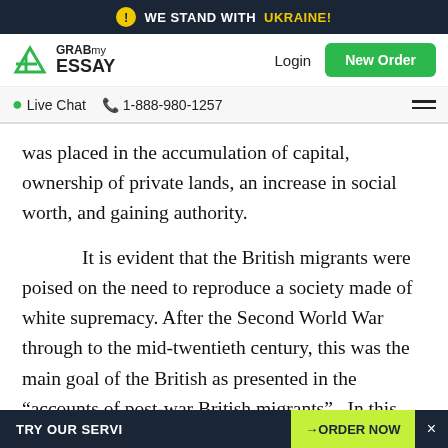WE STAND WITH UKRAINE!
[Figure (screenshot): GrabMyEssay website navigation bar with logo, Login button, New Order button, Live Chat, phone number 1-888-980-1257, and hamburger menu]
was placed in the accumulation of capital, ownership of private lands, an increase in social worth, and gaining authority.
It is evident that the British migrants were poised on the need to reproduce a society made of white supremacy. After the Second World War through to the mid-twentieth century, this was the main goal of the British as presented in the “accounts of post-war British migrants”.  In this account, the British misrepresent their unwarranted colonization of the aboriginals and other minority communities as "battlers" or individuals who
TRY OUR SERVI… →ORDER NOW ×